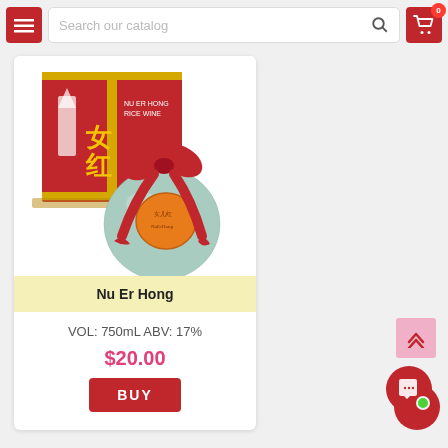[Figure (screenshot): E-commerce product page screenshot showing a navigation bar with menu button, search bar, and cart icon, a product card for Nu Er Hong rice wine with product image, name, volume/ABV info, price $20.00, and BUY button, plus back-to-top and chat widgets.]
Search our catalog
Nu Er Hong
VOL: 750mL ABV: 17%
$20.00
BUY